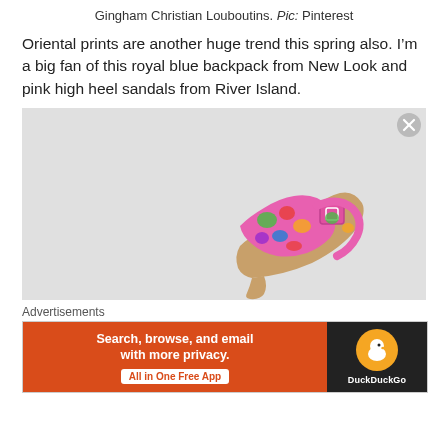Gingham Christian Louboutins. Pic: Pinterest
Oriental prints are another huge trend this spring also. I’m a big fan of this royal blue backpack from New Look and pink high heel sandals from River Island.
[Figure (photo): A pink floral-patterned high heel sandal with a buckle strap, displayed against a light grey background.]
Advertisements
[Figure (screenshot): DuckDuckGo advertisement banner: 'Search, browse, and email with more privacy. All in One Free App' on orange background with DuckDuckGo logo on dark background.]